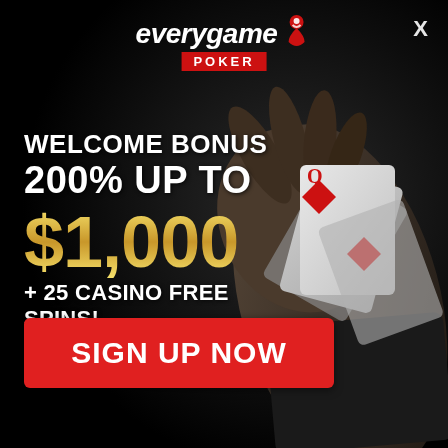[Figure (logo): Everygame Poker logo with red pin/person icon and italic white text, red POKER badge below]
X
WELCOME BONUS 200% UP TO $1,000 + 25 CASINO FREE SPINS!
SIGN UP NOW